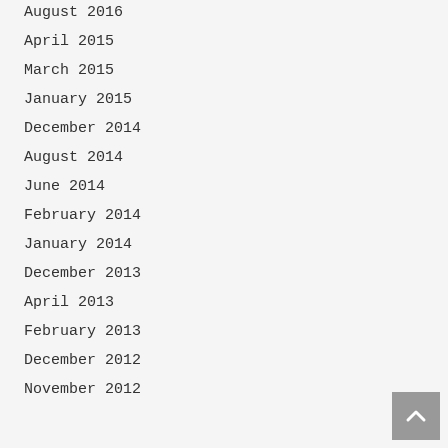August 2016
April 2015
March 2015
January 2015
December 2014
August 2014
June 2014
February 2014
January 2014
December 2013
April 2013
February 2013
December 2012
November 2012